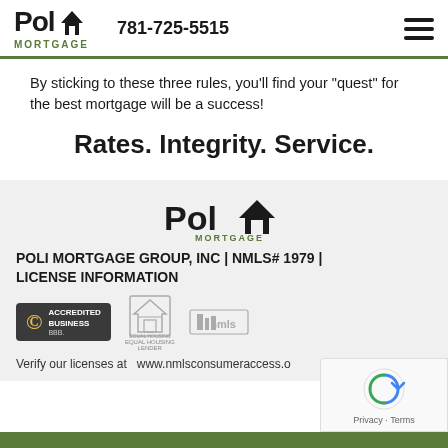Poli Mortgage | 781-725-5515
By sticking to these three rules, you’ll find your “quest” for the best mortgage will be a success!
Rates. Integrity. Service.
[Figure (logo): Poli Mortgage logo with house icon and green MORTGAGE text]
POLI MORTGAGE GROUP, INC | NMLS# 1979 | LICENSE INFORMATION
[Figure (logo): BBB Accredited Business badge, Equal Housing Lender logo, NMLS logo]
Verify our licenses at  www.nmlsconsumeraccess.org